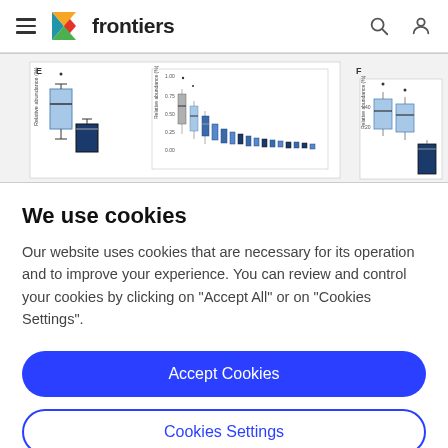frontiers
[Figure (other): Scientific box plot charts showing relative abundance (%) data across multiple categories, panels E and F visible]
We use cookies
Our website uses cookies that are necessary for its operation and to improve your experience. You can review and control your cookies by clicking on "Accept All" or on "Cookies Settings".
Accept Cookies
Cookies Settings